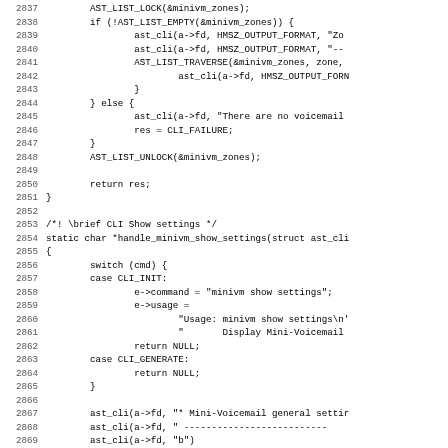[Figure (other): Source code listing in C, lines 2837–2868, showing CLI handler functions for minivm zones and settings in what appears to be Asterisk PBX source code.]